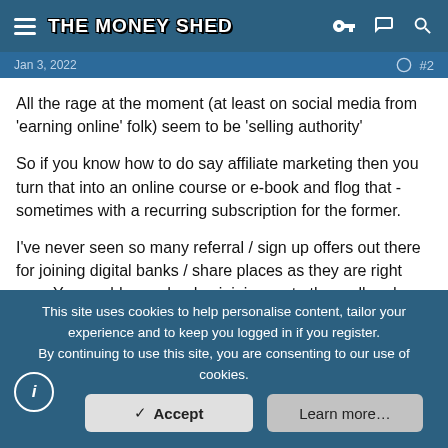THE MONEY SHED
Jan 3, 2022
All the rage at the moment (at least on social media from 'earning online' folk) seem to be 'selling authority'
So if you know how to do say affiliate marketing then you turn that into an online course or e-book and flog that - sometimes with a recurring subscription for the former.
I've never seen so many referral / sign up offers out there for joining digital banks / share places as they are right now. You could spend a day joining up to them all and probably net a few hundred quid. Same goes for if you push them as a referral to an audience.
In terms of 'traditional' ways - All the usual suspects are still about like
This site uses cookies to help personalise content, tailor your experience and to keep you logged in if you register.
By continuing to use this site, you are consenting to our use of cookies.